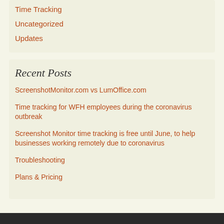Time Tracking
Uncategorized
Updates
Recent Posts
ScreenshotMonitor.com vs LumOffice.com
Time tracking for WFH employees during the coronavirus outbreak
Screenshot Monitor time tracking is free until June, to help businesses working remotely due to coronavirus
Troubleshooting
Plans & Pricing